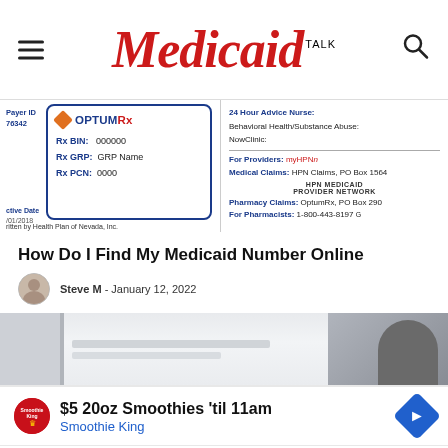Medicaid TALK
[Figure (photo): Medicaid insurance card showing OPTUMRx pharmacy benefit information with Payer ID 76342, Rx BIN 000000, Rx GRP GRP Name, Rx PCN 0000, and Health Plan of Nevada details including 24 Hour Advice Nurse, Behavioral Health/Substance Abuse, NowClinic, provider and pharmacy claims information.]
How Do I Find My Medicaid Number Online
Steve M  -  January 12, 2022
[Figure (photo): Featured article image showing a Medicaid card and a person in the background.]
[Figure (infographic): Advertisement banner: $5 20oz Smoothies 'til 11am - Smoothie King, with logo and navigation arrow icon.]